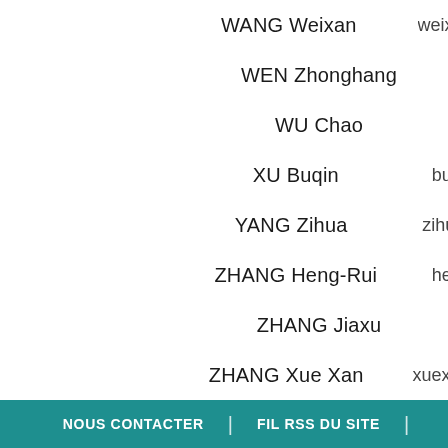WANG Weixan    weixi
WEN Zhonghang
WU Chao
XU Buqin    bu
YANG Zihua    zihu
ZHANG Heng-Rui    he
ZHANG Jiaxu
ZHANG Xue Xan    xuexa
ZHANG Yongmin
NOUS CONTACTER | FIL RSS DU SITE